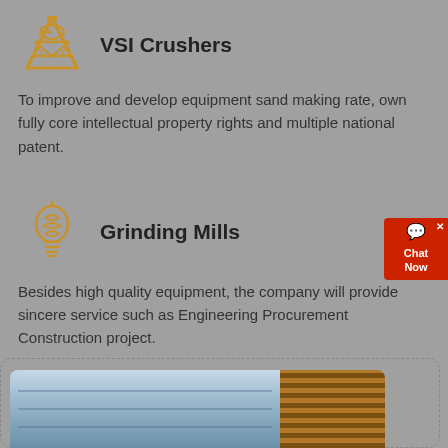VSI Crushers
To improve and develop equipment sand making rate, own fully core intellectual property rights and multiple national patent.
Grinding Mills
Besides high quality equipment, the company will provide sincere service such as Engineering Procurement Construction project.
[Figure (photo): Building facade with glass windows and brown lattice/mesh cladding panels]